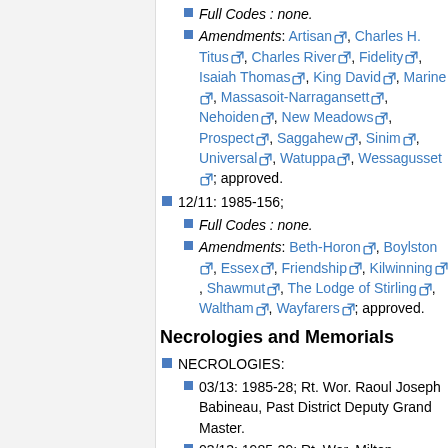Full Codes : none.
Amendments: Artisan, Charles H. Titus, Charles River, Fidelity, Isaiah Thomas, King David, Marine, Massasoit-Narragansett, Nehoiden, New Meadows, Prospect, Saggahew, Sinim, Universal, Watuppa, Wessagusset; approved.
12/11: 1985-156;
Full Codes : none.
Amendments: Beth-Horon, Boylston, Essex, Friendship, Kilwinning, Shawmut, The Lodge of Stirling, Waltham, Wayfarers; approved.
Necrologies and Memorials
NECROLOGIES:
03/13: 1985-28; Rt. Wor. Raoul Joseph Babineau, Past District Deputy Grand Master.
03/13: 1985-29; Rt. Wor. Milton